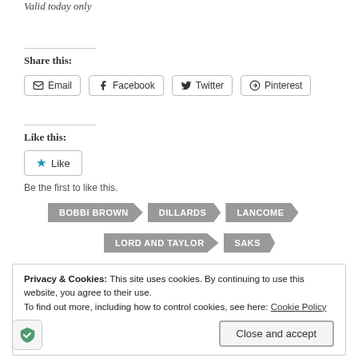Valid today only
Share this:
Email | Facebook | Twitter | Pinterest
Like this:
Like
Be the first to like this.
BOBBI BROWN
DILLARDS
LANCOME
LORD AND TAYLOR
SAKS
Privacy & Cookies: This site uses cookies. By continuing to use this website, you agree to their use. To find out more, including how to control cookies, see here: Cookie Policy
Close and accept